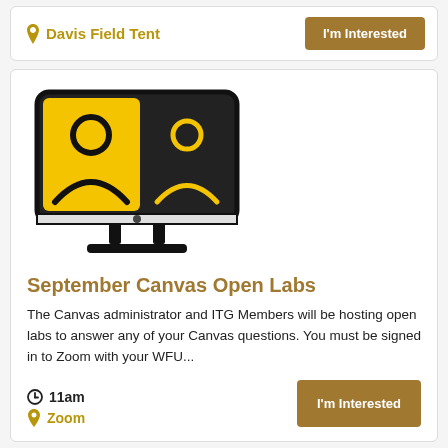Davis Field Tent
[Figure (illustration): Icon of a desktop computer monitor showing two video call participants: left panel yellow background with black person silhouette, right panel black background with yellow person silhouette.]
September Canvas Open Labs
The Canvas administrator and ITG Members will be hosting open labs to answer any of your Canvas questions. You must be signed in to Zoom with your WFU...
11am
Zoom